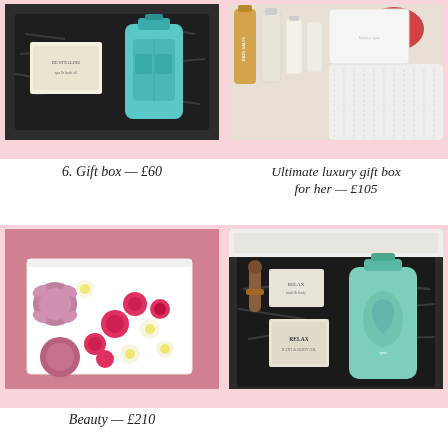[Figure (photo): Gift box with a teal decorative bottle and a product labeled 'Revitalise', set in black shredded paper inside a black box.]
[Figure (photo): Ultimate luxury gift box for her: multiple bottles and spa products laid out with a white knitted item.]
6. Gift box — £60
Ultimate luxury gift box for her — £105
[Figure (photo): Beauty box with pink and white flowers including roses and sponge flowers in a white box.]
[Figure (photo): Black gift box open showing a 'Relax' product set with spa items including a candle/roller, book, and teal bottle in black shredded paper.]
Beauty — £210